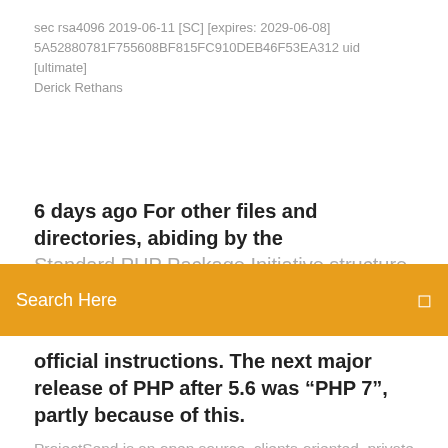sec rsa4096 2019-06-11 [SC] [expires: 2029-06-08] 5A52880781F755608BF815FC910DEB46F53EA312 uid [ultimate] Derick Rethans
6 days ago For other files and directories, abiding by the Standard PHP Package Initiative structure f
Search Here
official instructions. The next major release of PHP after 5.6 was “PHP 7”, partly because of this.
ProjectSend is an open source, clients-oriented, private file sharing web application. file sharing software. Download » Support on Patreon » Please see that your server has at least php 5.6 and MySQL 5 or better to run the software. The PDO Your support helps the developers so they can focus more on the project. 1 Dec 2016 Setting Php file on Windows So you must distinguish between servers that refer to hardware and then software from servers that refer to Unified S